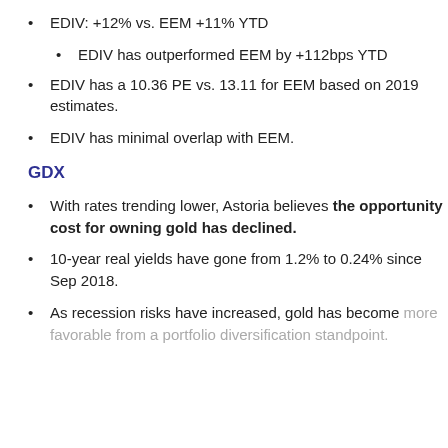EDIV: +12% vs. EEM +11% YTD
EDIV has outperformed EEM by +112bps YTD
EDIV has a 10.36 PE vs. 13.11 for EEM based on 2019 estimates.
EDIV has minimal overlap with EEM.
GDX
With rates trending lower, Astoria believes the opportunity cost for owning gold has declined.
10-year real yields have gone from 1.2% to 0.24% since Sep 2018.
As recession risks have increased, gold has become more favorable from a portfolio diversification standpoint.